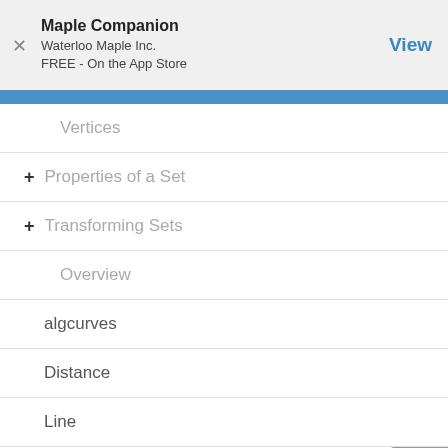Maple Companion
Waterloo Maple Inc.
FREE - On the App Store
View
Vertices
+ Properties of a Set
+ Transforming Sets
Overview
algcurves
Distance
Line
Midpoint
Slope